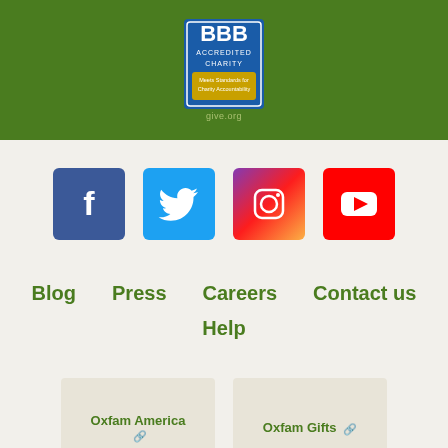[Figure (logo): BBB Accredited Charity logo badge on green background with give.org text below]
[Figure (infographic): Social media icons row: Facebook (blue), Twitter (light blue), Instagram (gradient purple/pink/orange), YouTube (red)]
Blog   Press   Careers   Contact us   Help
Oxfam America [external link]
Oxfam Gifts [external link]